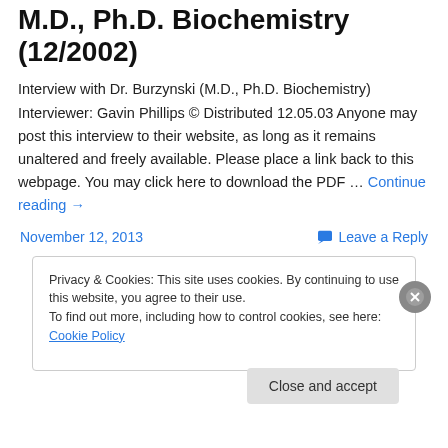M.D., Ph.D. Biochemistry (12/2002)
Interview with Dr. Burzynski (M.D., Ph.D. Biochemistry) Interviewer: Gavin Phillips © Distributed 12.05.03 Anyone may post this interview to their website, as long as it remains unaltered and freely available. Please place a link back to this webpage. You may click here to download the PDF … Continue reading →
November 12, 2013
Leave a Reply
Privacy & Cookies: This site uses cookies. By continuing to use this website, you agree to their use.
To find out more, including how to control cookies, see here: Cookie Policy